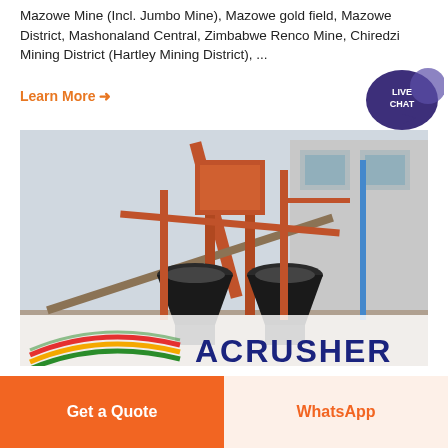Mazowe Mine (Incl. Jumbo Mine), Mazowe gold field, Mazowe District, Mashonaland Central, Zimbabwe Renco Mine, Chiredzi Mining District (Hartley Mining District), ...
Learn More →
[Figure (photo): Industrial mining/crushing plant with orange steel structure, conveyor belts, and cone crushers. ACRUSHER logo visible at the bottom with colorful striped swoosh design.]
Get a Quote
WhatsApp